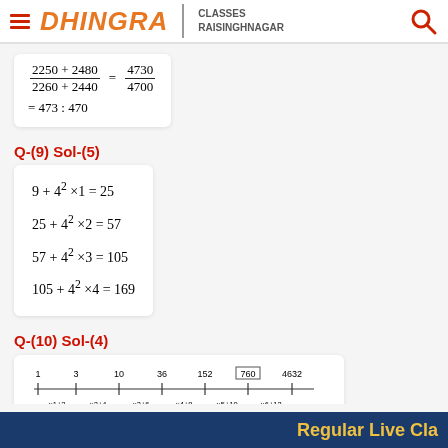DHINGRA CLASSES RAISINGHNAGAR
Q-(9) Sol-(5)
Q-(10) Sol-(4)
[Figure (other): Number line showing sequence: 1, 3, 10, 36, 152, 760 (wrong term, boxed), 4632 with operations ×1+2, ×2+4, ×3+6, ×4+8, ×5+10, ×6+12. Note: 760 is wrong term.]
Regular Live Classes